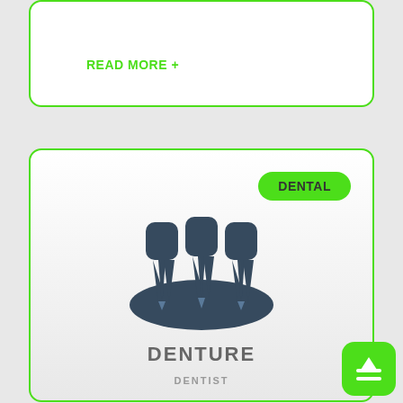READ MORE +
[Figure (illustration): Dental denture icon showing three teeth with roots mounted on a gum base, dark navy blue silhouette style]
DENTURE
DENTIST